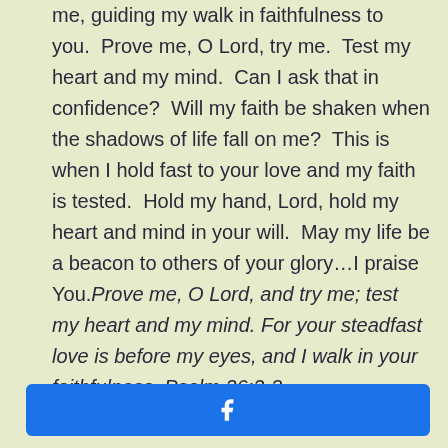me, guiding my walk in faithfulness to you. Prove me, O Lord, try me. Test my heart and my mind. Can I ask that in confidence? Will my faith be shaken when the shadows of life fall on me? This is when I hold fast to your love and my faith is tested. Hold my hand, Lord, hold my heart and mind in your will. May my life be a beacon to others of your glory…I praise You. Prove me, O Lord, and try me; test my heart and my mind. For your steadfast love is before my eyes, and I walk in your faithfulness. Psalm 26:2-3
[Figure (other): Facebook share button with white Facebook 'f' logo icon on a blue rounded rectangle button]